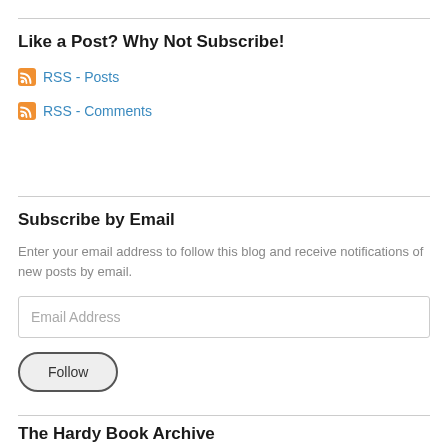Like a Post? Why Not Subscribe!
RSS - Posts
RSS - Comments
Subscribe by Email
Enter your email address to follow this blog and receive notifications of new posts by email.
Email Address
Follow
The Hardy Book Archive